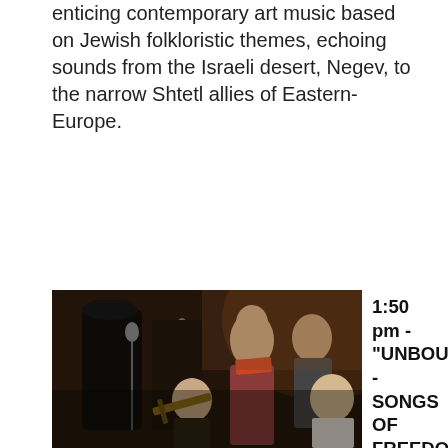enticing contemporary art music based on Jewish folkloristic themes, echoing sounds from the Israeli desert, Negev, to the narrow Shtetl allies of Eastern-Europe.
[Figure (photo): Group of musicians and singers on stage with microphones; performers include a man in a black hat and jacket at a microphone, a woman singing, and musicians playing string instruments in the foreground.]
1:50 pm - "UNBOUNDED - SONGS OF FREEDOM" WITH SOUTHERN JOURNEY AND